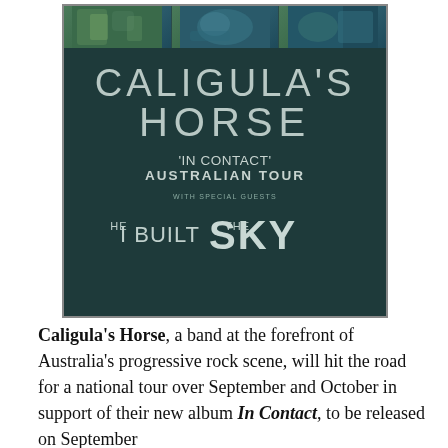[Figure (illustration): Concert tour poster for Caligula's Horse 'In Contact' Australian Tour with special guests I Built the Sky. Dark teal background with stylized band name logo at top, album title text, and guest band name in large display font.]
Caligula's Horse, a band at the forefront of Australia's progressive rock scene, will hit the road for a national tour over September and October in support of their new album In Contact, to be released on September